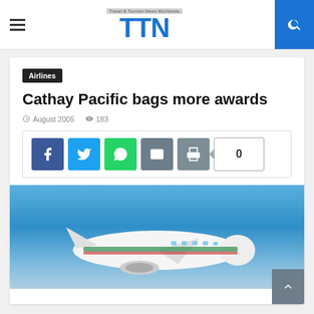TTN - Travel & Tourism News Worldwide
Airlines
Cathay Pacific bags more awards
August 2005  183
[Figure (screenshot): Social media share buttons: Facebook, Twitter, WhatsApp, Email, Print, and a count button showing 0]
[Figure (photo): Cathay Pacific airplane flying against a blue sky]